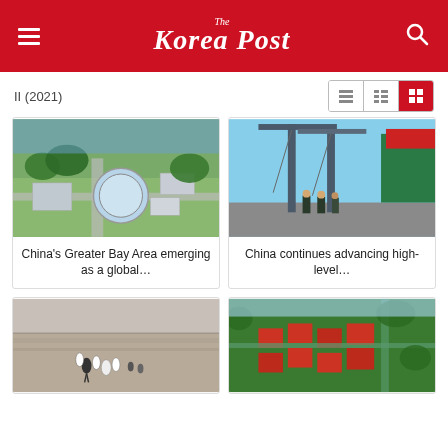The Korea Post
II (2021)
[Figure (photo): Aerial view of China's Greater Bay Area facility with circular greenhouse structure and industrial buildings]
China's Greater Bay Area emerging as a global…
[Figure (photo): Port with large cargo cranes and shipping containers, customs/border officials standing in foreground]
China continues advancing high-level…
[Figure (photo): Aerial/distant view of mudflats with birds (cranes/storks) walking on tidal flats]
[Figure (photo): Aerial view of Chinese rural village with red-roofed houses surrounded by green trees and water]